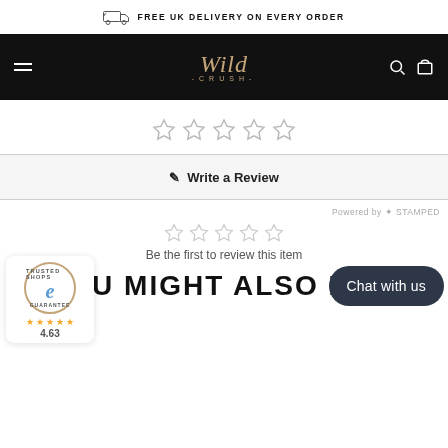FREE UK DELIVERY ON EVERY ORDER
[Figure (logo): Wild Crush logo in cursive script on black nav bar with hamburger menu, search and cart icons]
[Figure (other): Five empty star rating icons]
✎ Write a Review
Powered by ✦ STAMPED
[Figure (other): Five empty star rating icons (smaller)]
Be the first to review this item
[Figure (logo): Trusted Shops e badge with 4.63 star rating]
Chat with us
YOU MIGHT ALSO LIKE